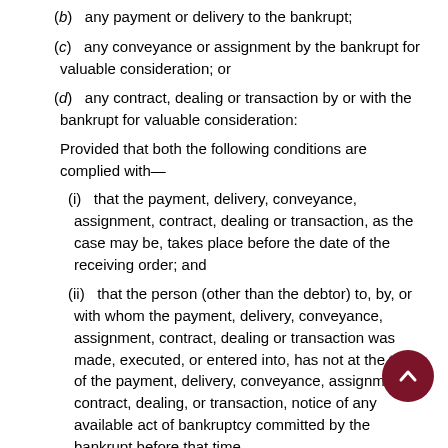(b)  any payment or delivery to the bankrupt;
(c)  any conveyance or assignment by the bankrupt for valuable consideration; or
(d)  any contract, dealing or transaction by or with the bankrupt for valuable consideration:
Provided that both the following conditions are complied with—
(i)  that the payment, delivery, conveyance, assignment, contract, dealing or transaction, as the case may be, takes place before the date of the receiving order; and
(ii)  that the person (other than the debtor) to, by, or with whom the payment, delivery, conveyance, assignment, contract, dealing or transaction was made, executed, or entered into, has not at the time of the payment, delivery, conveyance, assignment, contract, dealing, or transaction, notice of any available act of bankruptcy committed by the bankrupt before that time.
48.   Validity of certain payments to bankrupt and assig…
(1) A payment of money or delivery of property to a person subsequently adjudged bankrupt, or to a person claiming by